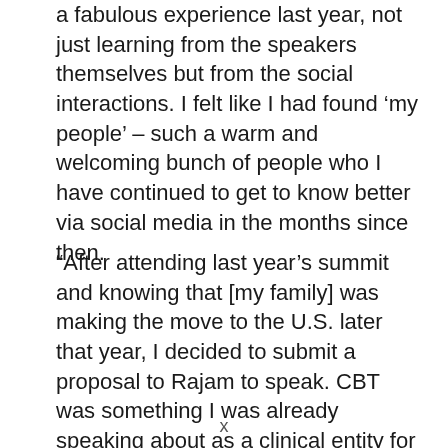a fabulous experience last year, not just learning from the speakers themselves but from the social interactions. I felt like I had found ‘my people’ – such a warm and welcoming bunch of people who I have continued to get to know better via social media in the months since then.
“After attending last year’s summit and knowing that [my family] was making the move to the U.S. later that year, I decided to submit a proposal to Rajam to speak. CBT was something I was already speaking about as a clinical entity for the treatment of pain,
x